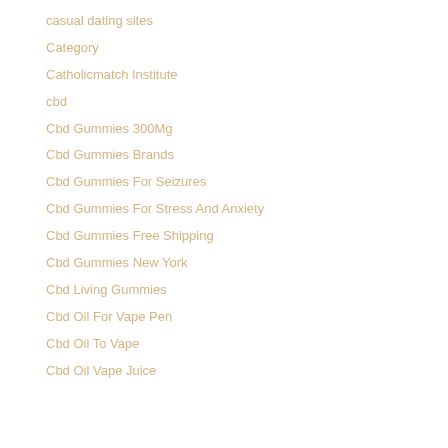casual dating sites
Category
Catholicmatch Institute
cbd
Cbd Gummies 300Mg
Cbd Gummies Brands
Cbd Gummies For Seizures
Cbd Gummies For Stress And Anxiety
Cbd Gummies Free Shipping
Cbd Gummies New York
Cbd Living Gummies
Cbd Oil For Vape Pen
Cbd Oil To Vape
Cbd Oil Vape Juice